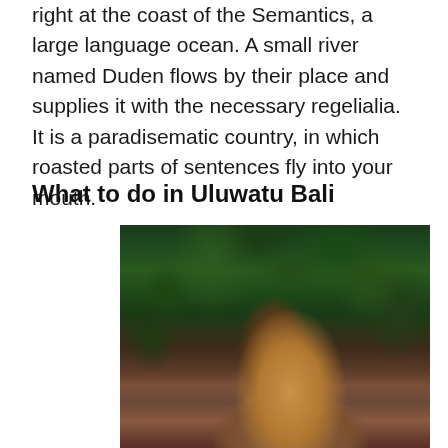right at the coast of the Semantics, a large language ocean. A small river named Duden flows by their place and supplies it with the necessary regelialia. It is a paradisematic country, in which roasted parts of sentences fly into your mouth.
What to do in Uluwatu Bali
[Figure (photo): A woman with long blonde hair viewed from behind, surrounded by lush green tropical foliage and dark reddish-brown earth, taken in Uluwatu Bali.]